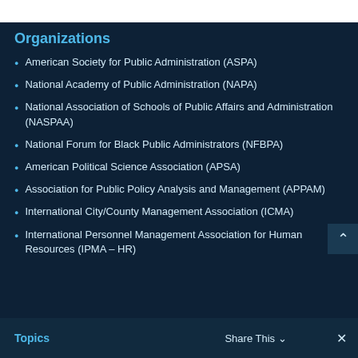Organizations
American Society for Public Administration (ASPA)
National Academy of Public Administration (NAPA)
National Association of Schools of Public Affairs and Administration (NASPAA)
National Forum for Black Public Administrators (NFBPA)
American Political Science Association (APSA)
Association for Public Policy Analysis and Management (APPAM)
International City/County Management Association (ICMA)
International Personnel Management Association for Human Resources (IPMA – HR)
Topics   Share This ∨   ✕